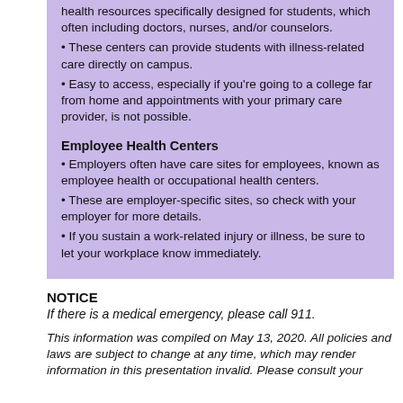health resources specifically designed for students, which often including doctors, nurses, and/or counselors.
These centers can provide students with illness-related care directly on campus.
Easy to access, especially if you're going to a college far from home and appointments with your primary care provider, is not possible.
Employee Health Centers
Employers often have care sites for employees, known as employee health or occupational health centers.
These are employer-specific sites, so check with your employer for more details.
If you sustain a work-related injury or illness, be sure to let your workplace know immediately.
NOTICE
If there is a medical emergency, please call 911.
This information was compiled on May 13, 2020. All policies and laws are subject to change at any time, which may render information in this presentation invalid. Please consult your